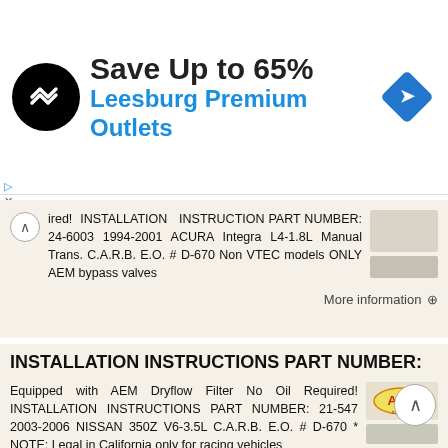[Figure (other): Advertisement banner: Save Up to 65% Leesburg Premium Outlets with logo and navigation icon]
ired! INSTALLATION INSTRUCTION PART NUMBER: 24-6003 1994-2001 ACURA Integra L4-1.8L Manual Trans. C.A.R.B. E.O. # D-670 Non VTEC models ONLY AEM bypass valves
More information →
INSTALLATION INSTRUCTIONS PART NUMBER:
Equipped with AEM Dryflow Filter No Oil Required! INSTALLATION INSTRUCTIONS PART NUMBER: 21-547 2003-2006 NISSAN 350Z V6-3.5L C.A.R.B. E.O. # D-670 * NOTE: Legal in California only for racing vehicles
More information →